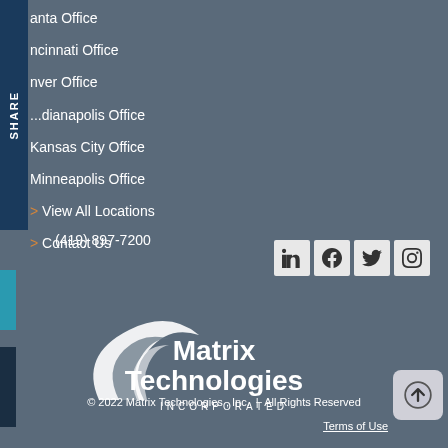anta Office
ncinnati Office
nver Office
...dianapolis Office
Kansas City Office
Minneapolis Office
> View All Locations
> Contact Us
(419) 897-7200
[Figure (logo): Matrix Technologies Incorporated logo - white text with stylized swoosh graphic]
© 2022 Matrix Technologies , Inc.  |  All Rights Reserved
Terms of Use